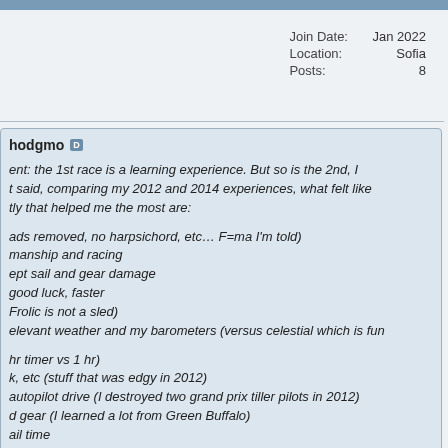|  |  |
| --- | --- |
| Join Date: | Jan 2022 |
| Location: | Sofia |
| Posts: | 8 |
hodgmo
ent: the 1st race is a learning experience. But so is the 2nd, I t said, comparing my 2012 and 2014 experiences, what felt like tly that helped me the most are:
ads removed, no harpsichord, etc… F=ma I'm told)
manship and racing
ept sail and gear damage
good luck, faster
Frolic is not a sled)
elevant weather and my barometers (versus celestial which is fun
hr timer vs 1 hr)
k, etc (stuff that was edgy in 2012)
autopilot drive (I destroyed two grand prix tiller pilots in 2012)
d gear (I learned a lot from Green Buffalo)
ail time
)
t I've no doubt that the interaction I've enjoyed since 2012 with o I now count as friends, really helped. It's a great group and I